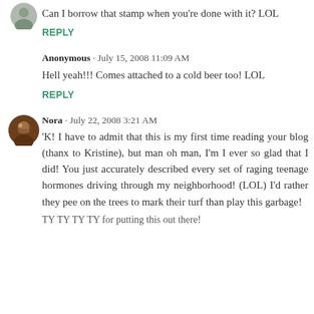[Figure (illustration): Small circular avatar image at top left, partially cropped]
Can I borrow that stamp when you're done with it? LOL
REPLY
Anonymous · July 15, 2008 11:09 AM
Hell yeah!!! Comes attached to a cold beer too! LOL
REPLY
[Figure (photo): Circular avatar photo of Nora, brown tones]
Nora · July 22, 2008 3:21 AM
'K! I have to admit that this is my first time reading your blog (thanx to Kristine), but man oh man, I'm I ever so glad that I did! You just accurately described every set of raging teenage hormones driving through my neighborhood! (LOL) I'd rather they pee on the trees to mark their turf than play this garbage!
TY TY TY TY for putting this out there!